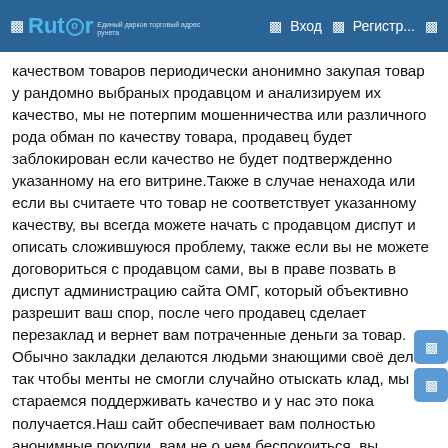Rutor | Вход | Регистр...
качеством товаров периодически анонимно закупая товар у рандомно выбраных продавцом и анализируем их качество, мы не потерпим мошенничества или различного рода обман по качеству товара, продавец будет заблокирован если качество не будет подтвержденно указанному на его витрине.Также в случае ненахода или если вы считаете что товар не соответствует указанному качеству, вы всегда можете начать с продавцом диспут и описать сложившуюся проблему, также если вы не можете договориться с продавцом сами, вы в праве позвать в диспут администрацию сайта ОМГ, который объективно разрешит ваш спор, после чего продавец сделает перезаклад и вернет вам потраченные деньги за товар.
Обычно закладки делаются людьми знающими своё дело, так чтобы менты не смогли случайно отыскать клад, мы стараемся поддерживать качество и у нас это пока получается.Наш сайт обеспечивает вам полностью анонимные покупки, вам не о чем беспокоиться, вы всегда можете прочитать отзывы перед покупкой, каждый магазин